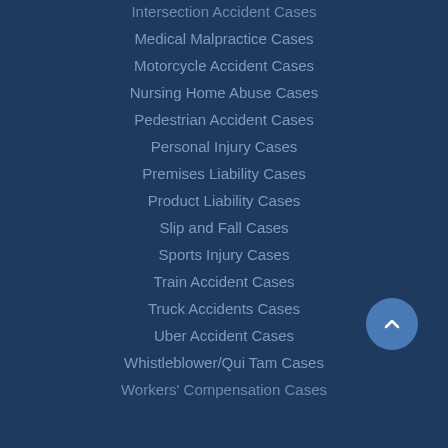Intersection Accident Cases
Medical Malpractice Cases
Motorcycle Accident Cases
Nursing Home Abuse Cases
Pedestrian Accident Cases
Personal Injury Cases
Premises Liability Cases
Product Liability Cases
Slip and Fall Cases
Sports Injury Cases
Train Accident Cases
Truck Accidents Cases
Uber Accident Cases
Whistleblower/Qui Tam Cases
Workers' Compensation Cases